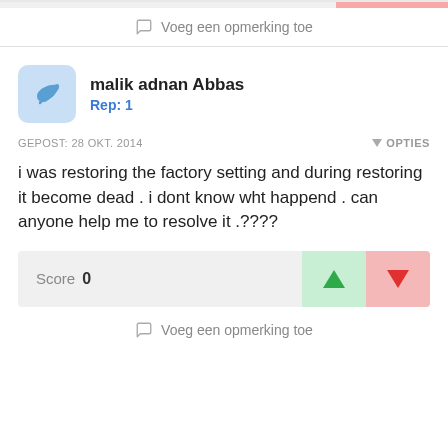Voeg een opmerking toe
malik adnan Abbas
Rep: 1
GEPOST: 28 OKT. 2014
OPTIES
i was restoring the factory setting and during restoring it become dead . i dont know wht happend . can anyone help me to resolve it .????
Score 0
Voeg een opmerking toe